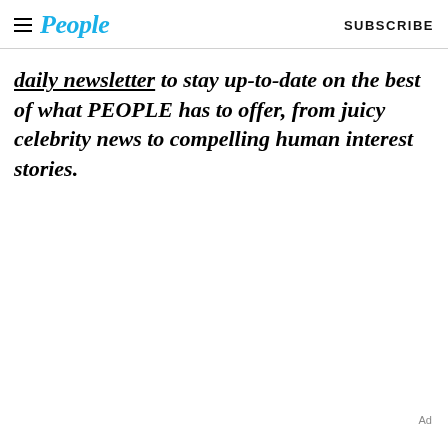People | SUBSCRIBE
daily newsletter to stay up-to-date on the best of what PEOPLE has to offer, from juicy celebrity news to compelling human interest stories.
Ad